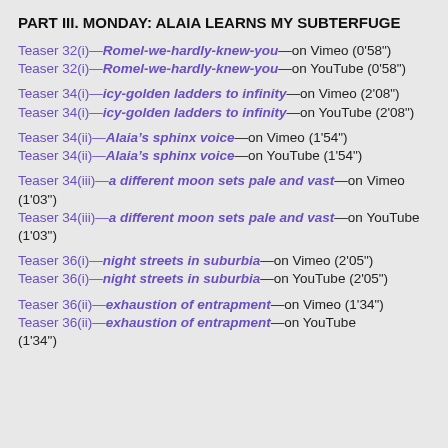PART III. MONDAY: ALAIA LEARNS MY SUBTERFUGE
Teaser 32(i)—Romel-we-hardly-knew-you—on Vimeo (0'58")
Teaser 32(i)—Romel-we-hardly-knew-you—on YouTube (0'58")
Teaser 34(i)—icy-golden ladders to infinity—on Vimeo (2'08")
Teaser 34(i)—icy-golden ladders to infinity—on YouTube (2'08")
Teaser 34(ii)—Alaia's sphinx voice—on Vimeo (1'54")
Teaser 34(ii)—Alaia's sphinx voice—on YouTube (1'54")
Teaser 34(iii)—a different moon sets pale and vast—on Vimeo (1'03")
Teaser 34(iii)—a different moon sets pale and vast—on YouTube (1'03")
Teaser 36(i)—night streets in suburbia—on Vimeo (2'05")
Teaser 36(i)—night streets in suburbia—on YouTube (2'05")
Teaser 36(ii)—exhaustion of entrapment—on Vimeo (1'34")
Teaser 36(ii)—exhaustion of entrapment—on YouTube (1'34")